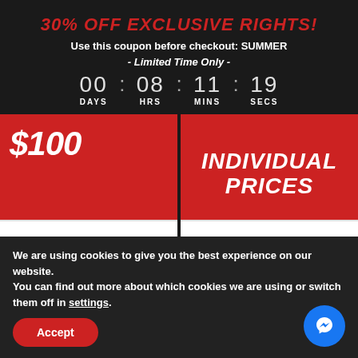30% OFF EXCLUSIVE RIGHTS!
Use this coupon before checkout: SUMMER
- Limited Time Only -
00 : 08 : 11 : 19
DAYS HRS MINS SECS
[Figure (infographic): Two red pricing cards side by side. Left card shows '$100' price, right card shows 'INDIVIDUAL PRICES'. Both cards have white bottom area showing 'MP3 + WAV + Trackouts'.]
We are using cookies to give you the best experience on our website.
You can find out more about which cookies we are using or switch them off in settings.
Accept